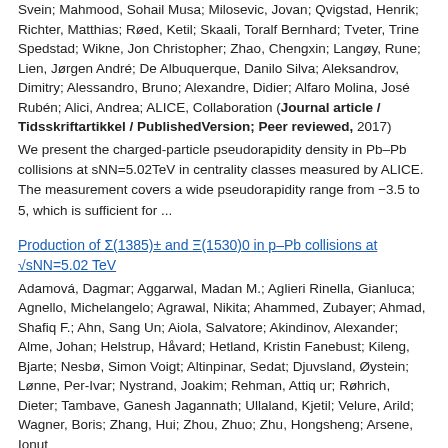Svein; Mahmood, Sohail Musa; Milosevic, Jovan; Qvigstad, Henrik; Richter, Matthias; Røed, Ketil; Skaali, Toralf Bernhard; Tveter, Trine Spedstad; Wikne, Jon Christopher; Zhao, Chengxin; Langøy, Rune; Lien, Jørgen André; De Albuquerque, Danilo Silva; Aleksandrov, Dimitry; Alessandro, Bruno; Alexandre, Didier; Alfaro Molina, José Rubén; Alici, Andrea; ALICE, Collaboration (Journal article / Tidsskriftartikkel / PublishedVersion; Peer reviewed, 2017)
We present the charged-particle pseudorapidity density in Pb–Pb collisions at sNN=5.02TeV in centrality classes measured by ALICE. The measurement covers a wide pseudorapidity range from −3.5 to 5, which is sufficient for ...
Production of Σ(1385)± and Ξ(1530)0 in p–Pb collisions at √sNN=5.02 TeV
Adamová, Dagmar; Aggarwal, Madan M.; Aglieri Rinella, Gianluca; Agnello, Michelangelo; Agrawal, Nikita; Ahammed, Zubayer; Ahmad, Shafiq F.; Ahn, Sang Un; Aiola, Salvatore; Akindinov, Alexander; Alme, Johan; Helstrup, Håvard; Hetland, Kristin Fanebust; Kileng, Bjarte; Nesbø, Simon Voigt; Altinpinar, Sedat; Djuvsland, Øystein; Lønne, Per-Ivar; Nystrand, Joakim; Rehman, Attiq ur; Røhrich, Dieter; Tambave, Ganesh Jagannath; Ullaland, Kjetil; Velure, Arild; Wagner, Boris; Zhang, Hui; Zhou, Zhuo; Zhu, Hongsheng; Arsene, Ionut